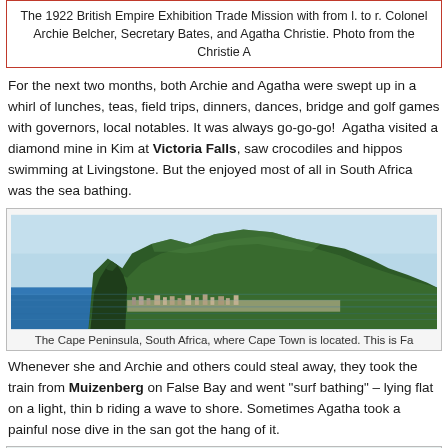The 1922 British Empire Exhibition Trade Mission with from l. to r. Colonel Archie Belcher, Secretary Bates, and Agatha Christie. Photo from the Christie A
For the next two months, both Archie and Agatha were swept up in a whirl of lunches, teas, field trips, dinners, dances, bridge and golf games with governors, local notables. It was always go-go-go!  Agatha visited a diamond mine in Kim at Victoria Falls, saw crocodiles and hippos swimming at Livingstone. But the enjoyed most of all in South Africa was the sea bathing.
[Figure (photo): The Cape Peninsula, South Africa, showing a dramatic mountain range with green slopes descending to a coastal town and blue ocean waters.]
The Cape Peninsula, South Africa, where Cape Town is located. This is Fa
Whenever she and Archie and others could steal away, they took the train from Muizenberg on False Bay and went "surf bathing" – lying flat on a light, thin b riding a wave to shore. Sometimes Agatha took a painful nose dive in the san got the hang of it.
[Figure (photo): Partial view of a photograph labeled 'Surfing at Muizenberg' showing a beach scene with blue-green tones.]